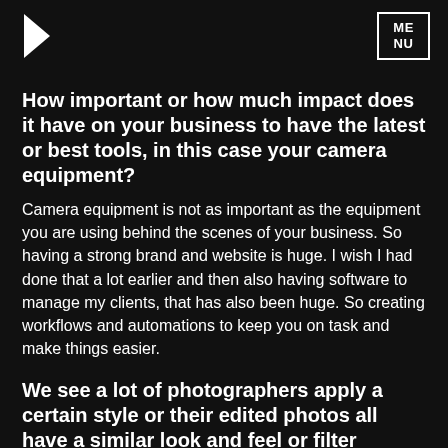K | MENU
How important or how much impact does it have on your business to have the latest or best tools, in this case your camera equipment?
Camera equipment is not as important as the equipment you are using behind the scenes of your business. So having a strong brand and website is huge. I wish I had done that a lot earlier and then also having software to manage my clients, that has also been huge. So creating workflows and automations to keep you on task and make things easier.
We see a lot of photographers apply a certain style or their edited photos all have a similar look and feel or filter applied, what you would